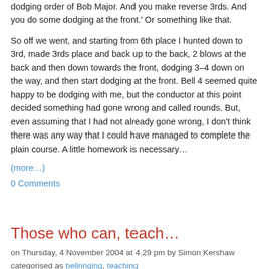dodging order of Bob Major. And you make reverse 3rds. And you do some dodging at the front.' Or something like that.
So off we went, and starting from 6th place I hunted down to 3rd, made 3rds place and back up to the back, 2 blows at the back and then down towards the front, dodging 3–4 down on the way, and then start dodging at the front. Bell 4 seemed quite happy to be dodging with me, but the conductor at this point decided something had gone wrong and called rounds. But, even assuming that I had not already gone wrong, I don't think there was any way that I could have managed to complete the plain course. A little homework is necessary…
(more…)
0 Comments
Those who can, teach…
on Thursday, 4 November 2004 at 4.29 pm by Simon Kershaw categorised as bellringing, teaching